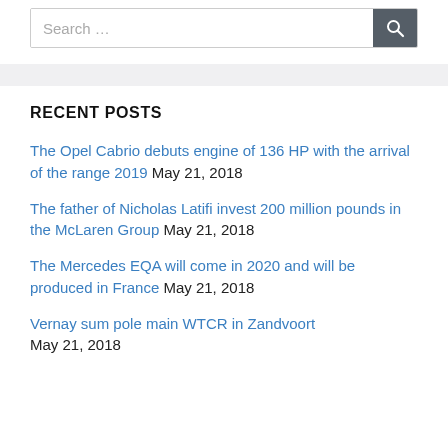[Figure (screenshot): Search bar with text input field and dark search button with magnifying glass icon]
RECENT POSTS
The Opel Cabrio debuts engine of 136 HP with the arrival of the range 2019 May 21, 2018
The father of Nicholas Latifi invest 200 million pounds in the McLaren Group May 21, 2018
The Mercedes EQA will come in 2020 and will be produced in France May 21, 2018
Vernay sum pole main WTCR in Zandvoort May 21, 2018